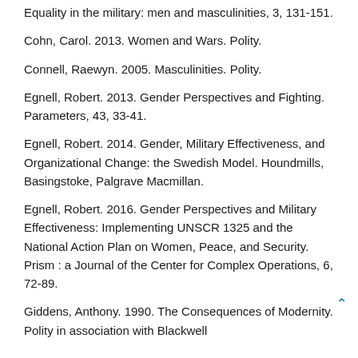Equality in the military: men and masculinities, 3, 131-151.
Cohn, Carol. 2013. Women and Wars. Polity.
Connell, Raewyn. 2005. Masculinities. Polity.
Egnell, Robert. 2013. Gender Perspectives and Fighting. Parameters, 43, 33-41.
Egnell, Robert. 2014. Gender, Military Effectiveness, and Organizational Change: the Swedish Model. Houndmills, Basingstoke, Palgrave Macmillan.
Egnell, Robert. 2016. Gender Perspectives and Military Effectiveness: Implementing UNSCR 1325 and the National Action Plan on Women, Peace, and Security. Prism : a Journal of the Center for Complex Operations, 6, 72-89.
Giddens, Anthony. 1990. The Consequences of Modernity. Polity in association with Blackwell